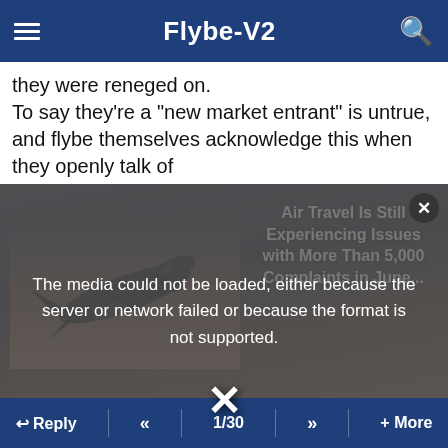Flybe-V2
they were reneged on.
To say they're a "new market entrant" is untrue, and flybe themselves acknowledge this when they openly talk of
[Figure (screenshot): Video player with airplane silhouette against sunset sky, showing article title 'Air Travel Is Still Experiencing Issues with More Than 5,000 Complaints in June...' and a media error overlay reading 'The media could not be loaded, either because the server or network failed or because the format is not supported.' with an X dismiss button and large X close icon]
RogueOne , 29th Mar 2022 11:12
Quote:
Originally Posted by Skipness One Foxtrot
They've got a staggeringly low cost base because they crashed and left a trail of debt.
There are no legacy costs on the balance sheet because they were reneged on.
↩ Reply  «  1/30  »  + More